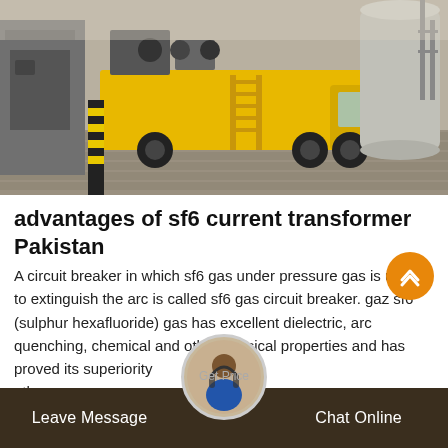[Figure (photo): Yellow utility truck parked at an industrial/electrical substation site. Large cylindrical equipment and scaffolding visible in the background. Brick-paved ground, outdoor setting.]
advantages of sf6 current transformer Pakistan
A circuit breaker in which sf6 gas under pressure gas is used to extinguish the arc is called sf6 gas circuit breaker. gaz sf6 (sulphur hexafluoride) gas has excellent dielectric, arc quenching, chemical and other physical properties and has proved its superiority other arc